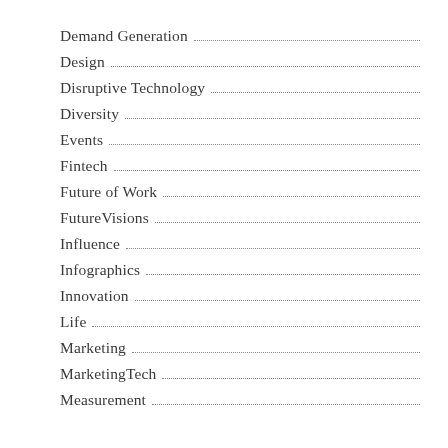Demand Generation
Design
Disruptive Technology
Diversity
Events
Fintech
Future of Work
FutureVisions
Influence
Infographics
Innovation
Life
Marketing
MarketingTech
Measurement